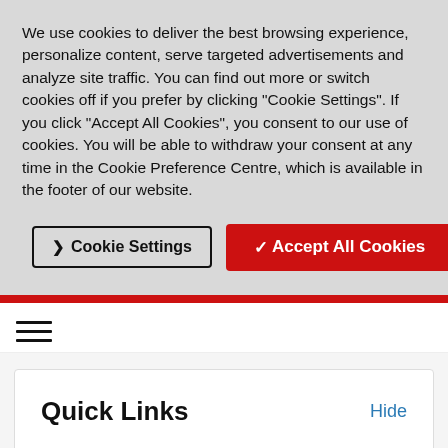We use cookies to deliver the best browsing experience, personalize content, serve targeted advertisements and analyze site traffic. You can find out more or switch cookies off if you prefer by clicking "Cookie Settings". If you click "Accept All Cookies", you consent to our use of cookies. You will be able to withdraw your consent at any time in the Cookie Preference Centre, which is available in the footer of our website.
[Figure (screenshot): Two buttons: 'Cookie Settings' (outlined) and 'Accept All Cookies' (red filled)]
[Figure (screenshot): Hamburger menu icon (three horizontal lines)]
Quick Links
Hide
Videos